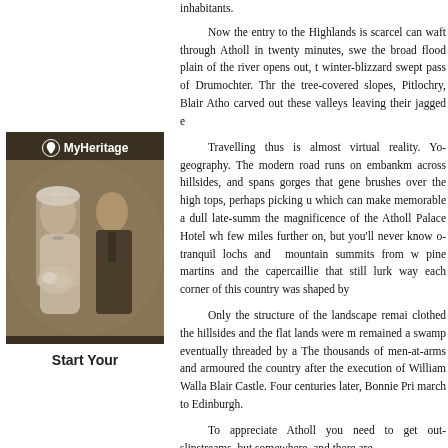inhabitants.
Now the entry to the Highlands is scarcel... can waft through Atholl in twenty minutes, swe... the broad flood plain of the river opens out, b... winter-blizzard swept pass of Drumochter. Thr... the tree-covered slopes, Pitlochry, Blair Atho... carved out these valleys leaving their jagged e...
[Figure (photo): MyHeritage advertisement showing a vintage sepia wedding photograph of a bride and groom, with the MyHeritage logo at the top.]
Start Your
Travelling thus is almost virtual reality. Yo... geography. The modern road runs on embankm... across hillsides, and spans gorges that gene... brushes over the high tops, perhaps picking u... which can make memorable a dull late-summ... the magnificence of the Atholl Palace Hotel wh... few miles further on, but you'll never know o... tranquil lochs and mountain summits from w... pine martins and the capercaillie that still lurk... way each corner of this country was shaped by...
Only the structure of the landscape remai... clothed the hillsides and the flat lands were m... remained a swamp eventually threaded by a... The thousands of men-at-arms and armoured... the country after the execution of William Walla... Blair Castle. Four centuries later, Bonnie Pri... march to Edinburgh.
To appreciate Atholl you need to get out... slipstreams, but somewhere, and there are...